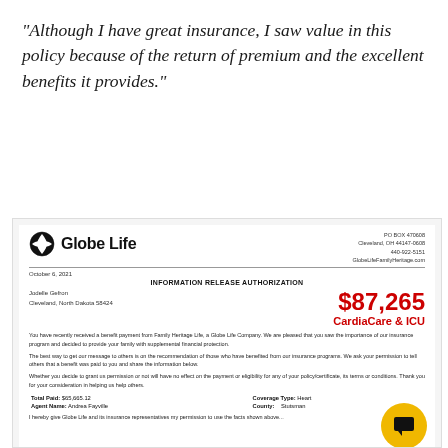"Although I have great insurance, I saw value in this policy because of the return of premium and the excellent benefits it provides."
[Figure (other): Globe Life insurance letter dated October 6, 2021 — Information Release Authorization for Jodelle Gefront, Cleveland, North Dakota 58424. Benefit amount $87,265 for CardiaCare & ICU. Letter body describes benefit payment from Family Heritage Life, a Globe Life Company. Total Paid: $65,665.12, Agent Name: Andrea Fayville, Coverage Type: Heart, County: Stutsman.]